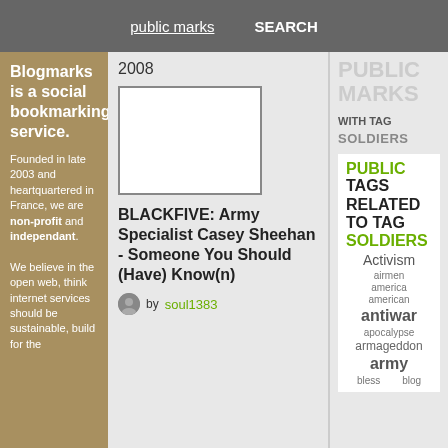public marks   SEARCH
Blogmarks is a social bookmarking service.
Founded in late 2003 and heartquartered in France, we are non-profit and independant.
We believe in the open web, think internet services should be sustainable, build for the
2008
[Figure (photo): Thumbnail image placeholder (white box with border)]
BLACKFIVE: Army Specialist Casey Sheehan - Someone You Should (Have) Know(n)
by soul1383
PUBLIC MARKS WITH TAG SOLDIERS
PUBLIC TAGS RELATED TO TAG SOLDIERS
Activism
airmen
america
american
antiwar
apocalypse
armageddon
army
bless
blog